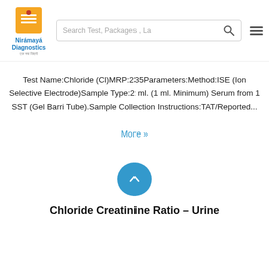[Figure (logo): Niramaya Diagnostics logo with orange icon and blue text]
Test Name:Chloride (Cl)MRP:235Parameters:Method:ISE (Ion Selective Electrode)Sample Type:2 ml. (1 ml. Minimum) Serum from 1 SST (Gel Barrier Tube).Sample Collection Instructions:TAT/Reported...
More »
[Figure (other): Blue circular scroll-up button with upward chevron arrow]
Chloride Creatinine Ratio – Urine